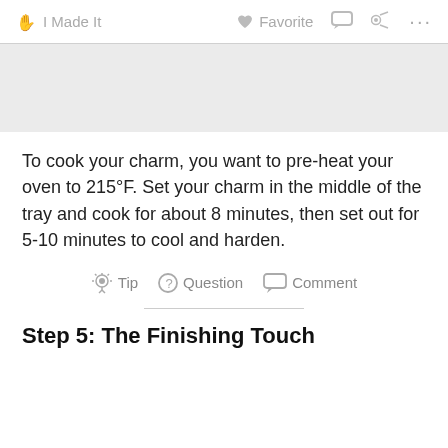✋ I Made It   ♡ Favorite   💬   ⋯
[Figure (photo): Gray image placeholder area at top of content]
To cook your charm, you want to pre-heat your oven to 215°F. Set your charm in the middle of the tray and cook for about 8 minutes, then set out for 5-10 minutes to cool and harden.
💡 Tip   ? Question   💬 Comment
Step 5: The Finishing Touch